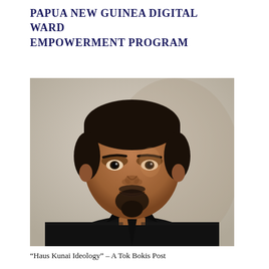PAPUA NEW GUINEA DIGITAL WARD EMPOWERMENT PROGRAM
[Figure (photo): Portrait photograph of a man with dark hair and a goatee beard, wearing a black shirt, against a light beige background. The man is smiling subtly and looking toward the camera.]
“Haus Kunai Ideology” – A Tok Bokis Post